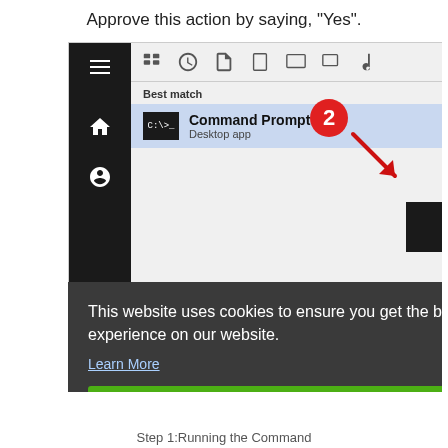Approve this action by saying, "Yes".
[Figure (screenshot): Windows Start menu search showing Command Prompt as best match with annotation circle '2' and arrow pointing to CTRL+SHIFT+ENTER keyboard shortcut. A cookie consent overlay is visible over the screenshot with 'Got it!' button.]
Step 1:Running the Command